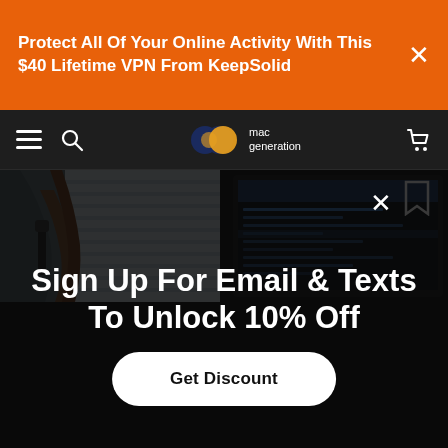Protect All Of Your Online Activity With This $40 Lifetime VPN From KeepSolid
[Figure (screenshot): Website navigation bar with hamburger menu, search icon, Mac Generation logo (two overlapping circles - dark blue and orange), and cart icon on dark background]
[Figure (photo): Split hero image: left side shows a hand plugging in a cable on a desk, right side shows a dark computer monitor with code/terminal interface]
Sign Up For Email & Texts To Unlock 10% Off
Get Discount